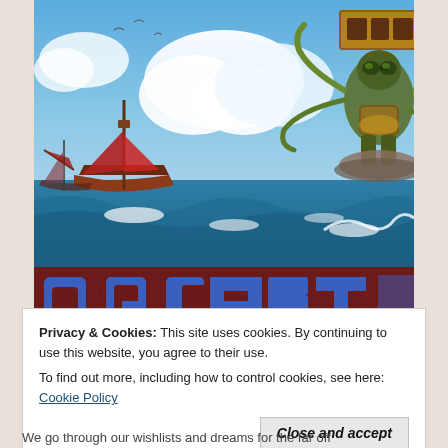[Figure (screenshot): A pirate-themed video game screenshot showing ships on the ocean with dramatic sky and clouds, and a character in the upper right. Below the scene is a pixelated banner reading 'O.G. Cast' in blue pixel-art font on a dark red/maroon textured background.]
Privacy & Cookies: This site uses cookies. By continuing to use this website, you agree to their use.
To find out more, including how to control cookies, see here: Cookie Policy
Close and accept
We go through our wishlists and dreams for the far off